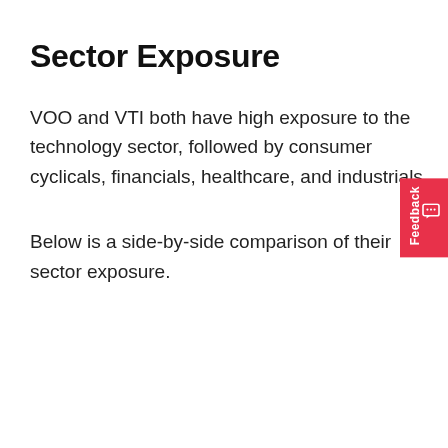Sector Exposure
VOO and VTI both have high exposure to the technology sector, followed by consumer cyclicals, financials, healthcare, and industrials.
Below is a side-by-side comparison of their sector exposure.